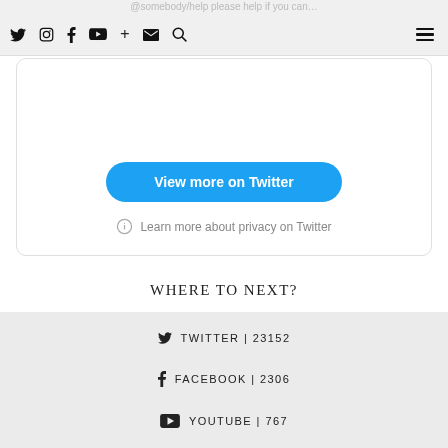@somebody/help please help if you can…
[Figure (screenshot): Navigation bar with social media icons: Twitter, Instagram, Facebook, YouTube, plus, envelope, search, and hamburger menu]
[Figure (screenshot): Twitter embedded widget card with 'View more on Twitter' blue button and 'Learn more about privacy on Twitter' link]
WHERE TO NEXT?
TWITTER | 23152
FACEBOOK | 2306
YOUTUBE | 767